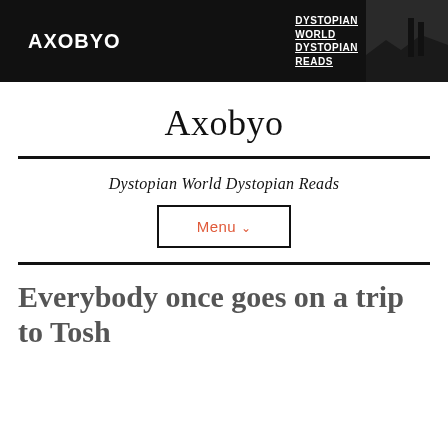AXOBYO | DYSTOPIAN WORLD DYSTOPIAN READS
Axobyo
Dystopian World Dystopian Reads
Menu ∨
Everybody once goes on a trip to Tosh